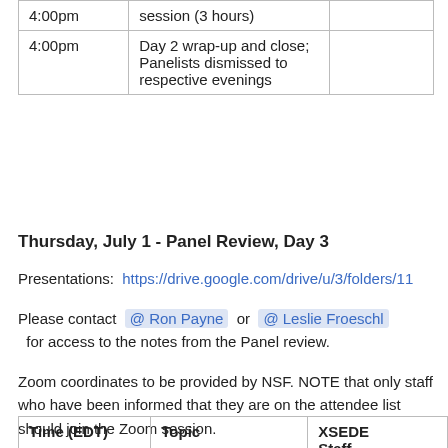| Time (EDT) | Topic | XSEDE Staff |
| --- | --- | --- |
| 4:00pm | session (3 hours) |  |
| 4:00pm | Day 2 wrap-up and close; Panelists dismissed to respective evenings |  |
Thursday, July 1 - Panel Review, Day 3
Presentations:  https://drive.google.com/drive/u/3/folders/11
Please contact @Ron Payne or @Leslie Froeschl for access to the notes from the Panel review.
Zoom coordinates to be provided by NSF. NOTE that only staff who have been informed that they are on the attendee list should join the Zoom session.
| Time (EDT) | Topic | XSEDE Staff |
| --- | --- | --- |
| ~8:00am | XSEDE |  |